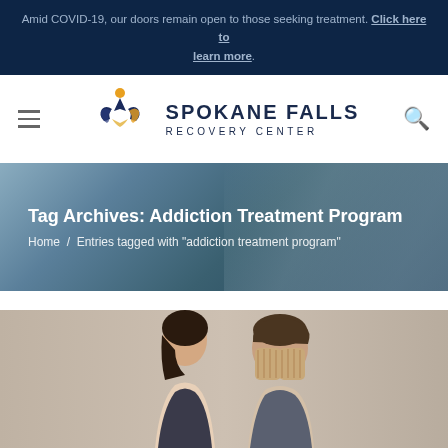Amid COVID-19, our doors remain open to those seeking treatment. Click here to learn more.
[Figure (logo): Spokane Falls Recovery Center logo with stylized hands and figure, navy and gold colors]
Tag Archives: Addiction Treatment Program
Home / Entries tagged with "addiction treatment program"
[Figure (photo): Photo of a man and woman, the man covering his face with his hands, against a neutral background]